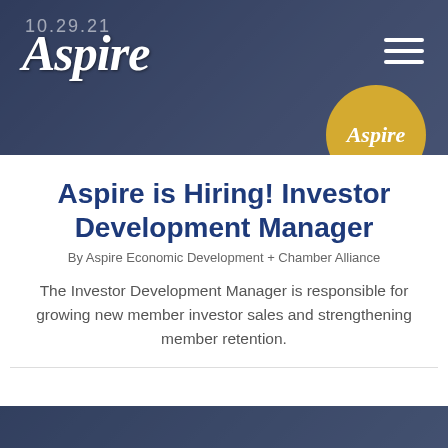[Figure (photo): Header banner with dark blue-toned photo of people in professional settings, with Aspire logo in script text on left and hamburger menu icon on right. A gold circle with 'Aspire' script text appears on the right side.]
Aspire is Hiring! Investor Development Manager
By Aspire Economic Development + Chamber Alliance
The Investor Development Manager is responsible for growing new member investor sales and strengthening member retention.
[Figure (photo): Bottom partial image showing professionals in business attire.]